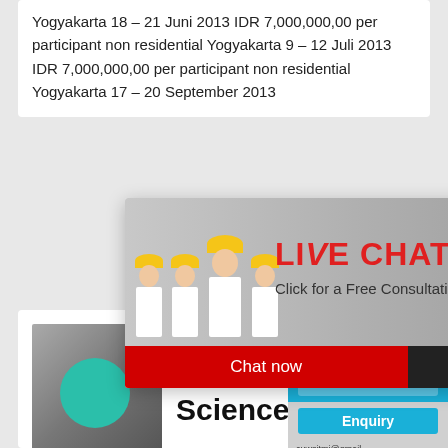Yogyakarta 18 – 21 Juni 2013 IDR 7,000,000,00 per participant non residential Yogyakarta 9 – 12 Juli 2013 IDR 7,000,000,00 per participant non residential Yogyakarta 17 – 20 September 2013 …cipant
[Figure (photo): Live chat popup with workers wearing yellow helmets, red LIVE CHAT text, 'Click for a Free Consultation' subtitle, Chat now (red) and Chat later (dark) buttons]
[Figure (screenshot): Right sidebar widget showing industrial machine (crusher/mill) on blue background with 'hour online', 'Click me to chat>>' and 'Enquiry' buttons and email text]
[Figure (photo): Mining/quarry site photo showing excavation machinery]
Ball Mill – a overview ScienceDir...